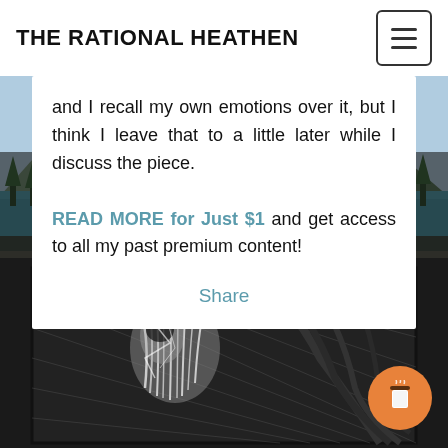THE RATIONAL HEATHEN
and I recall my own emotions over it, but I think I leave that to a little later while I discuss the piece.
READ MORE for Just $1 and get access to all my past premium content!
Share
[Figure (illustration): Black and white illustration of a woman with feathers and surreal elements, partially revealed; mountain lake landscape photo in background; orange coffee cup button overlay]